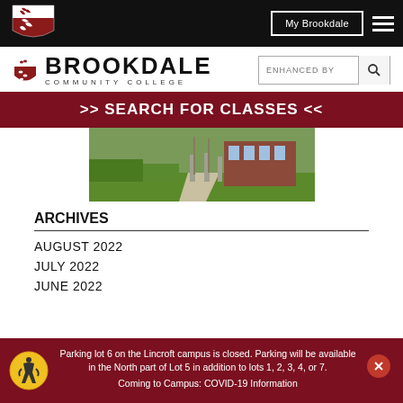Brookdale Community College website header with navigation
[Figure (logo): Brookdale Community College shield logo in red and white]
My Brookdale
[Figure (logo): Brookdale Community College wordmark logo]
ENHANCED BY (search bar)
>> SEARCH FOR CLASSES <<
[Figure (photo): Brookdale campus outdoor photo showing walkway, grass, and brick building]
ARCHIVES
AUGUST 2022
JULY 2022
Parking lot 6 on the Lincroft campus is closed. Parking will be available in the North part of Lot 5 in addition to lots 1, 2, 3, 4, or 7.
Coming to Campus: COVID-19 Information